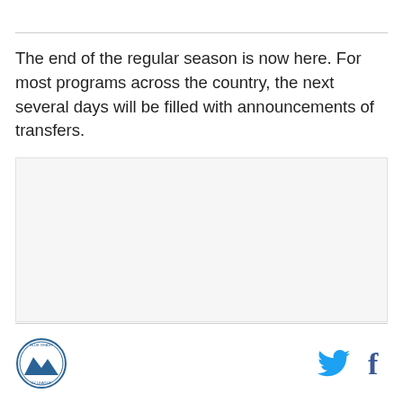The end of the regular season is now here. For most programs across the country, the next several days will be filled with announcements of transfers.
[Figure (other): Empty light gray image placeholder box]
Site logo, Twitter icon, Facebook icon